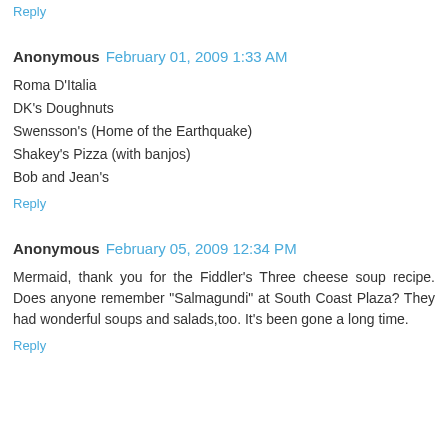Reply
Anonymous  February 01, 2009 1:33 AM
Roma D'Italia
DK's Doughnuts
Swensson's (Home of the Earthquake)
Shakey's Pizza (with banjos)
Bob and Jean's
Reply
Anonymous  February 05, 2009 12:34 PM
Mermaid, thank you for the Fiddler's Three cheese soup recipe. Does anyone remember "Salmagundi" at South Coast Plaza? They had wonderful soups and salads,too. It's been gone a long time.
Reply